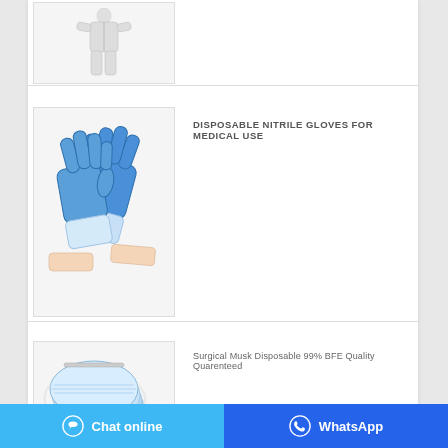[Figure (photo): Partial view of a white hazmat/protective suit on a person]
[Figure (photo): Two blue disposable nitrile gloves for medical use on white background]
DISPOSABLE NITRILE GLOVES FOR MEDICAL USE
[Figure (photo): Stack of blue disposable surgical masks tied with elastic bands]
Surgical Musk Disposable 99% BFE Quality Quarenteed
Chat online   WhatsApp